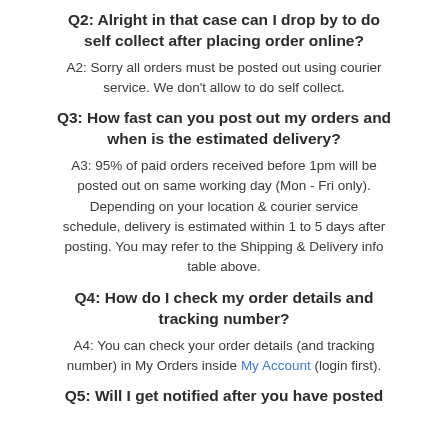Q2: Alright in that case can I drop by to do self collect after placing order online?
A2: Sorry all orders must be posted out using courier service. We don't allow to do self collect.
Q3: How fast can you post out my orders and when is the estimated delivery?
A3: 95% of paid orders received before 1pm will be posted out on same working day (Mon - Fri only). Depending on your location & courier service schedule, delivery is estimated within 1 to 5 days after posting. You may refer to the Shipping & Delivery info table above.
Q4: How do I check my order details and tracking number?
A4: You can check your order details (and tracking number) in My Orders inside My Account (login first).
Q5: Will I get notified after you have posted